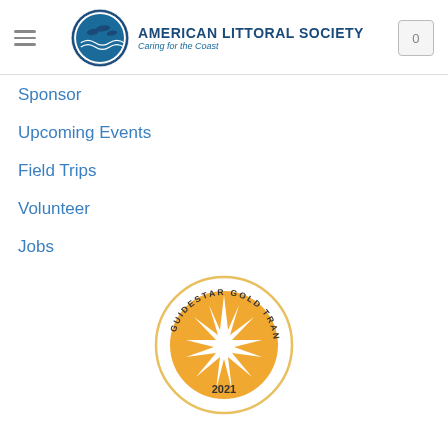AMERICAN LITTORAL SOCIETY — Caring for the Coast
Sponsor
Upcoming Events
Field Trips
Volunteer
Jobs
[Figure (logo): GuideStar Gold Transparency 2021 circular badge with gold background, white starburst, and text around the border]